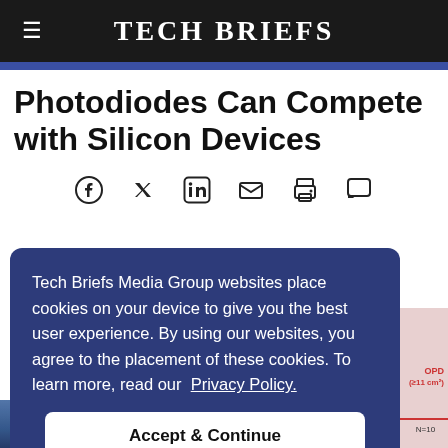TECH BRIEFS
Photodiodes Can Compete with Silicon Devices
[Figure (infographic): Social sharing icons row: Facebook, Twitter, LinkedIn, Email, Print, Comment]
Tech Briefs Media Group websites place cookies on your device to give you the best user experience. By using our websites, you agree to the placement of these cookies. To learn more, read our Privacy Policy.
[Figure (screenshot): Accept & Continue button in cookie consent banner]
[Figure (other): Partially visible scientific diagram/chart on right side showing OPD labels and N=12, N=10 annotations with red line]
[Figure (photo): Partial bottom photo strip showing blue/scientific imagery]